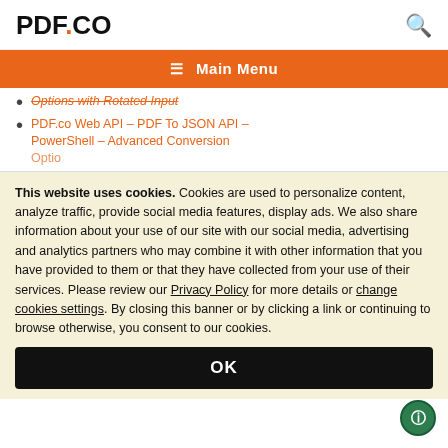PDF.CO
≡  Main Menu
Options with Rotated Input
PDF.co Web API – PDF To JSON API – PowerShell – Advanced Conversion Options
This website uses cookies. Cookies are used to personalize content, analyze traffic, provide social media features, display ads. We also share information about your use of our site with our social media, advertising and analytics partners who may combine it with other information that you have provided to them or that they have collected from your use of their services. Please review our Privacy Policy for more details or change cookies settings. By closing this banner or by clicking a link or continuing to browse otherwise, you consent to our cookies.
OK